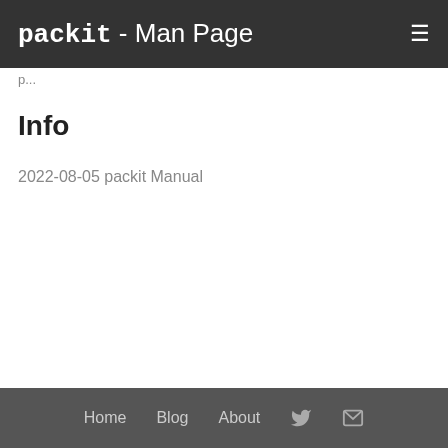packit - Man Page
p...
Info
2022-08-05 packit Manual
Home   Blog   About